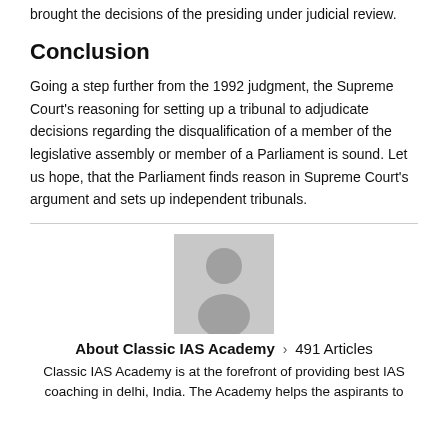brought the decisions of the presiding under judicial review.
Conclusion
Going a step further from the 1992 judgment, the Supreme Court's reasoning for setting up a tribunal to adjudicate decisions regarding the disqualification of a member of the legislative assembly or member of a Parliament is sound. Let us hope, that the Parliament finds reason in Supreme Court's argument and sets up independent tribunals.
[Figure (illustration): Gray placeholder avatar image showing a generic person silhouette]
About Classic IAS Academy > 491 Articles
Classic IAS Academy is at the forefront of providing best IAS coaching in delhi, India. The Academy helps the aspirants to